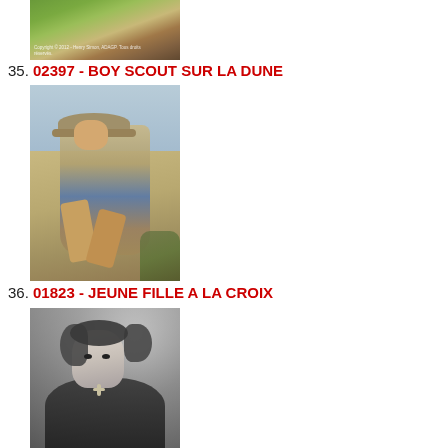[Figure (photo): Partial view of a painting (top portion visible), appears to show foliage and a path, with a copyright watermark reading 'Copyright © 2012 - Henry Simon, ADAGP. Tous droits réservés.']
35. 02397 - BOY SCOUT SUR LA DUNE
[Figure (photo): Painting of a boy scout sitting on a dune, wearing a wide-brimmed hat, khaki shirt, blue shorts, and sandals. He is seated casually on sandy ground with sparse vegetation and a light blue background suggesting sky and water.]
36. 01823 - JEUNE FILLE A LA CROIX
[Figure (photo): Black and white drawing or lithograph of a young woman with curly hair, wearing a dark blouse with a cross necklace, looking directly at the viewer with a solemn expression.]